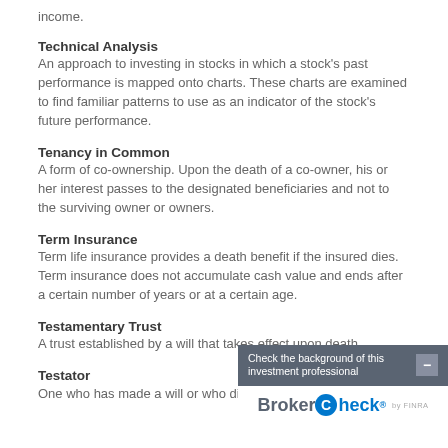income.
Technical Analysis
An approach to investing in stocks in which a stock's past performance is mapped onto charts. These charts are examined to find familiar patterns to use as an indicator of the stock's future performance.
Tenancy in Common
A form of co-ownership. Upon the death of a co-owner, his or her interest passes to the designated beneficiaries and not to the surviving owner or owners.
Term Insurance
Term life insurance provides a death benefit if the insured dies. Term insurance does not accumulate cash value and ends after a certain number of years or at a certain age.
Testamentary Trust
A trust established by a will that takes effect upon death.
Testator
One who has made a will or who dies having left a will.
[Figure (other): BrokerCheck widget overlay showing 'Check the background of this investment professional' with BrokerCheck by FINRA logo]